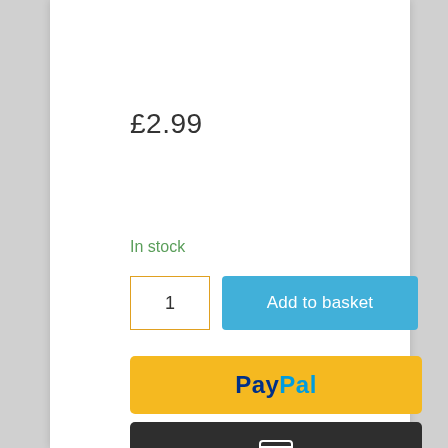£2.99
In stock
[Figure (screenshot): E-commerce product purchase interface with quantity input box showing '1', 'Add to basket' blue button, PayPal payment button in yellow, and a dark card payment button with credit card icon.]